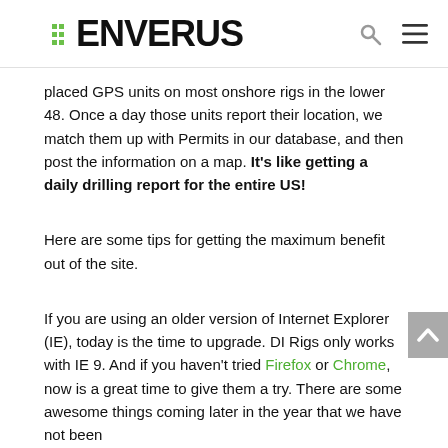ENVERUS
placed GPS units on most onshore rigs in the lower 48. Once a day those units report their location, we match them up with Permits in our database, and then post the information on a map. It's like getting a daily drilling report for the entire US!
Here are some tips for getting the maximum benefit out of the site.
If you are using an older version of Internet Explorer (IE), today is the time to upgrade. DI Rigs only works with IE 9. And if you haven't tried Firefox or Chrome, now is a great time to give them a try. There are some awesome things coming later in the year that we have not been